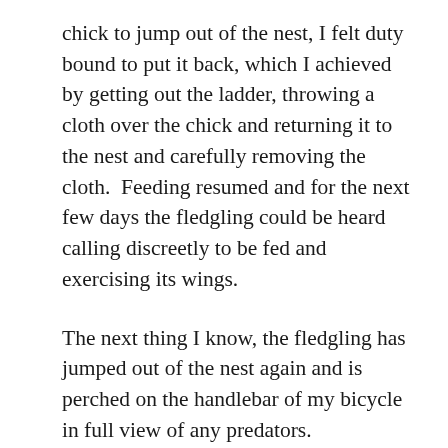chick to jump out of the nest, I felt duty bound to put it back, which I achieved by getting out the ladder, throwing a cloth over the chick and returning it to the nest and carefully removing the cloth.  Feeding resumed and for the next few days the fledgling could be heard calling discreetly to be fed and exercising its wings.
The next thing I know, the fledgling has jumped out of the nest again and is perched on the handlebar of my bicycle in full view of any predators.
‘Stupid bird,’ I muttered, and chased it round the courtyard with the cloth.